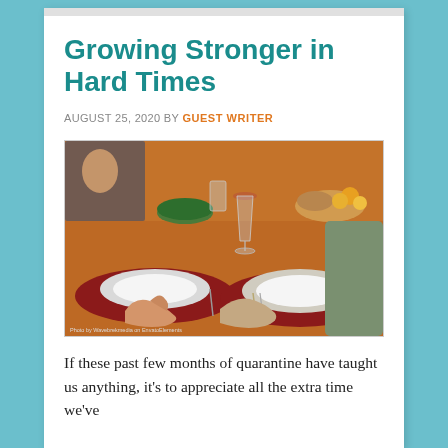Growing Stronger in Hard Times
AUGUST 25, 2020 BY GUEST WRITER
[Figure (photo): Family members holding hands across a dinner table set with red placemats, white plates, food dishes, wine glasses, and water glasses. A woman and child are visible in the background.]
Photo by Wavebrekmedia on EnvatoElements
If these past few months of quarantine have taught us anything, it's to appreciate all the extra time we've